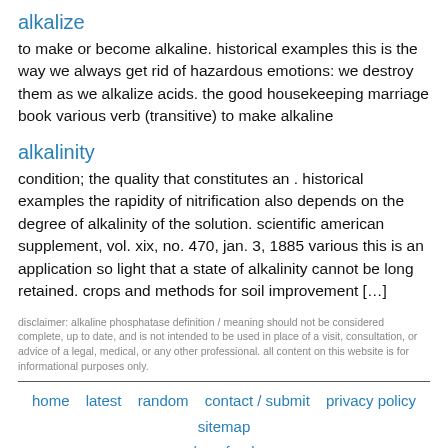alkalize
to make or become alkaline. historical examples this is the way we always get rid of hazardous emotions: we destroy them as we alkalize acids. the good housekeeping marriage book various verb (transitive) to make alkaline
alkalinity
condition; the quality that constitutes an . historical examples the rapidity of nitrification also depends on the degree of alkalinity of the solution. scientific american supplement, vol. xix, no. 470, jan. 3, 1885 various this is an application so light that a state of alkalinity cannot be long retained. crops and methods for soil improvement […]
disclaimer: alkaline phosphatase definition / meaning should not be considered complete, up to date, and is not intended to be used in place of a visit, consultation, or advice of a legal, medical, or any other professional. all content on this website is for informational purposes only.
home   latest   random   contact / submit   privacy policy   sitemap   | rss feed
© 2022 | definithing